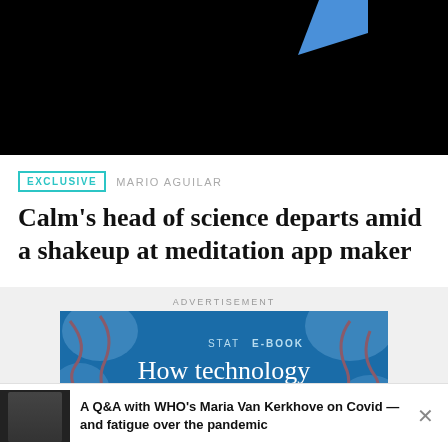[Figure (screenshot): Top portion of a dark/black image with a blue geometric shape visible in the upper right area]
EXCLUSIVE  MARIO AGUILAR
Calm’s head of science departs amid a shakeup at meditation app maker
ADVERTISEMENT
[Figure (screenshot): STAT E-BOOK advertisement banner with blue background and neural/brain imagery. Text reads: STAT E-BOOK How technology shapes patient]
RECOMMENDED
A Q&A with WHO’s Maria Van Kerkhove on Covid — and fatigue over the pandemic